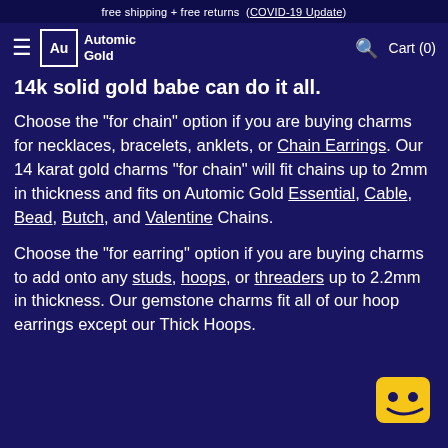free shipping + free returns (COVID-19 Update)
14k solid gold babe can do it all.
Choose the "for chain" option if you are buying charms for necklaces, bracelets, anklets, or Chain Earrings. Our 14 karat gold charms "for chain" will fit chains up to 2mm in thickness and fits on Automic Gold Essential, Cable, Bead, Butch, and Valentine Chains.
Choose the "for earring" option if you are buying charms to add onto any studs, hoops, or threaders up to 2.2mm in thickness. Our gemstone charms fit all of our hoop earrings except our Thick Hoops.
Approximate item weight: 0.2g